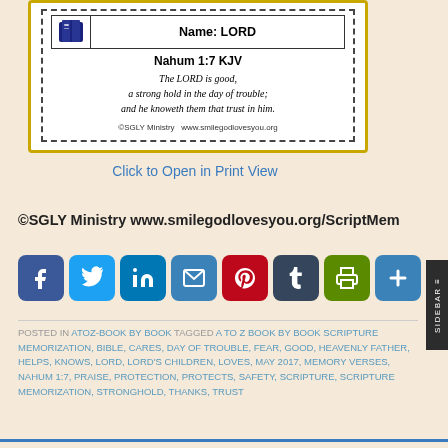[Figure (other): Scripture memory card with book icon, Name: LORD header, Nahum 1:7 KJV verse text, and SGLY Ministry copyright]
Click to Open in Print View
©SGLY Ministry www.smilegodlovesyou.org/ScriptMem
[Figure (infographic): Social media share buttons: Facebook, Twitter, LinkedIn, Email, Pinterest, Tumblr, Print, Share]
POSTED IN ATOZ-BOOK BY BOOK   TAGGED A TO Z BOOK BY BOOK SCRIPTURE MEMORIZATION, BIBLE, CARES, DAY OF TROUBLE, FEAR, GOOD, HEAVENLY FATHER, HELPS, KNOWS, LORD, LORD'S CHILDREN, LOVES, MAY 2017, MEMORY VERSES, NAHUM 1:7, PRAISE, PROTECTION, PROTECTS, SAFETY, SCRIPTURE, SCRIPTURE MEMORIZATION, STRONGHOLD, THANKS, TRUST